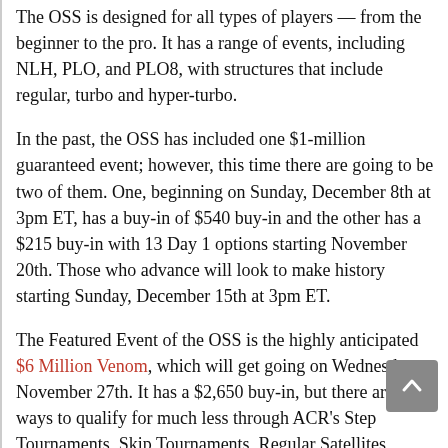The OSS is designed for all types of players — from the beginner to the pro. It has a range of events, including NLH, PLO, and PLO8, with structures that include regular, turbo and hyper-turbo.
In the past, the OSS has included one $1-million guaranteed event; however, this time there are going to be two of them. One, beginning on Sunday, December 8th at 3pm ET, has a buy-in of $540 buy-in and the other has a $215 buy-in with 13 Day 1 options starting November 20th. Those who advance will look to make history starting Sunday, December 15th at 3pm ET.
The Featured Event of the OSS is the highly anticipated $6 Million Venom, which will get going on Wednesday, November 27th. It has a $2,650 buy-in, but there are ways to qualify for much less through ACR's Step Tournaments, Skip Tournaments, Regular Satellites, Mega Satellites and Cyclones.
If you're not familiar with Cyclones, they're a type of